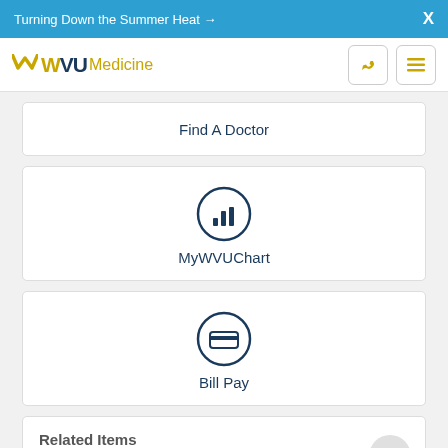Turning Down the Summer Heat →  X
[Figure (logo): WVU Medicine logo with phone and menu icons]
Find A Doctor
[Figure (infographic): Circle icon with bar chart symbol for MyWVUChart]
MyWVUChart
[Figure (infographic): Circle icon with credit card symbol for Bill Pay]
Bill Pay
Related Items
DISEASES AND CONDITIONS